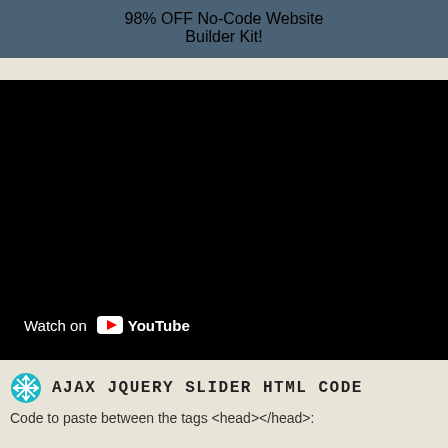98% OFF No-Code Website Builder Kit!
[Figure (screenshot): YouTube video embed showing a black video player with 'Watch on YouTube' button overlay and a circular logo icon in the top left]
AJAX JQUERY SLIDER HTML CODE
Code to paste between the tags <head></head>: